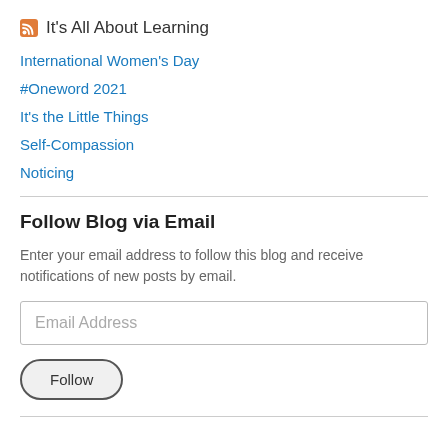It's All About Learning
International Women's Day
#Oneword 2021
It's the Little Things
Self-Compassion
Noticing
Follow Blog via Email
Enter your email address to follow this blog and receive notifications of new posts by email.
Email Address
Follow